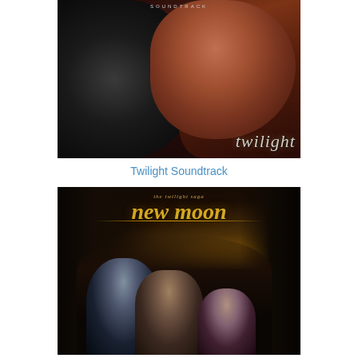[Figure (photo): Twilight Soundtrack album cover — young woman with auburn hair against a dark hooded figure, with the word 'twilight' in italic text and 'SOUNDTRACK' at the top]
Twilight Soundtrack
[Figure (photo): The Twilight Saga: New Moon soundtrack/movie cover — three figures (two men and a woman) in front of a glowing moonlit forest background, with 'the twilight saga' and 'new moon' title text in gold]